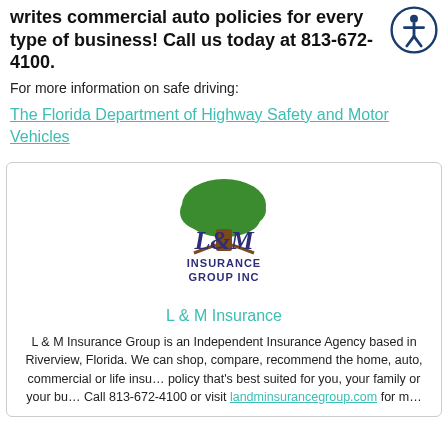writes commercial auto policies for every type of business! Call us today at 813-672-4100.
For more information on safe driving:
The Florida Department of Highway Safety and Motor Vehicles
[Figure (logo): L & M Insurance Group Inc logo with green tree and purple/navy script lettering]
L & M Insurance
L & M Insurance Group is an Independent Insurance Agency based in Riverview, Florida. We can shop, compare, recommend the home, auto, commercial or life insurance policy that's best suited for you, your family or your business. Call 813-672-4100 or visit landminsurancegroup.com for more.